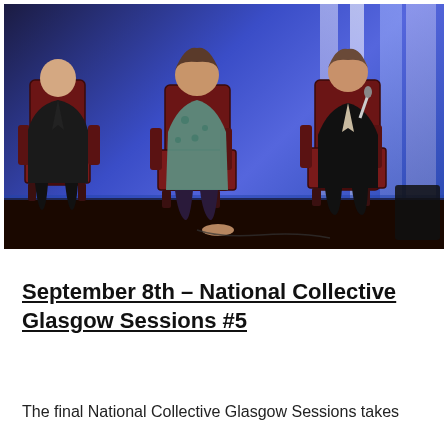[Figure (photo): Three people seated in red leather chairs on a stage with blue and purple lighting. A man on the left in a dark suit, a woman in the center wearing a floral teal dress, and a woman on the right in a dark blazer holding a microphone. The stage background features vertical light panels.]
September 8th – National Collective Glasgow Sessions #5
The final National Collective Glasgow Sessions takes